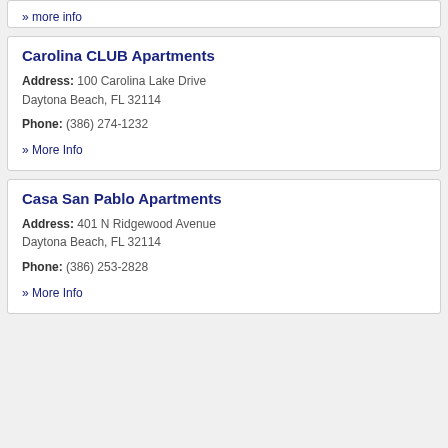» more info
Carolina CLUB Apartments
Address: 100 Carolina Lake Drive Daytona Beach, FL 32114
Phone: (386) 274-1232
» More Info
Casa San Pablo Apartments
Address: 401 N Ridgewood Avenue Daytona Beach, FL 32114
Phone: (386) 253-2828
» More Info